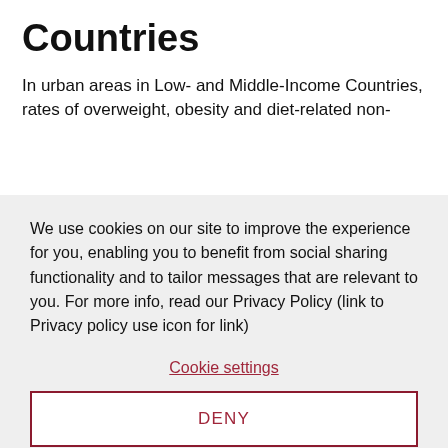Countries
In urban areas in Low- and Middle-Income Countries, rates of overweight, obesity and diet-related non-
We use cookies on our site to improve the experience for you, enabling you to benefit from social sharing functionality and to tailor messages that are relevant to you. For more info, read our Privacy Policy (link to Privacy policy use icon for link)
Cookie settings
DENY
ACCEPT